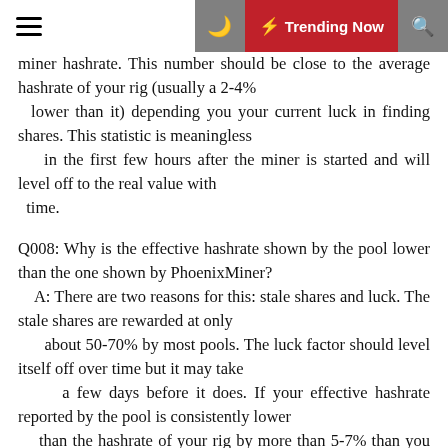☰ 🌙 ⚡ Trending Now 🔍
miner hashrate. This number should be close to the average hashrate of your rig (usually a 2-4% lower than it) depending you your current luck in finding shares. This statistic is meaningless in the first few hours after the miner is started and will level off to the real value with time.
Q008: Why is the effective hashrate shown by the pool lower than the one shown by PhoenixMiner?
    A: There are two reasons for this: stale shares and luck. The stale shares are rewarded at only about 50-70% by most pools. The luck factor should level itself off over time but it may take a few days before it does. If your effective hashrate reported by the pool is consistently lower than the hashrate of your rig by more than 5-7% than you should look at the number of stale shares and the average share acceptance time – if it is higher than 100 ms, try to find a pool that is